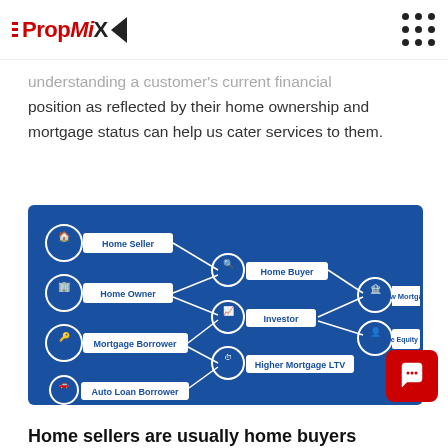PropMiX
Understanding a customer's current financial position as reflected by their home ownership and mortgage status can help us cater services to them.
[Figure (flowchart): Flowchart on dark blue background showing connections between customer segments: Home Seller, Home Owner, Mortgage Borrower, Auto Loan Borrower on the left connect to Home Buyer and Investor in the middle, which connect to New Mortgage and Home Equity / Refi on the right. Higher Mortgage LTV also appears in the middle tier.]
Home sellers are usually home buyers